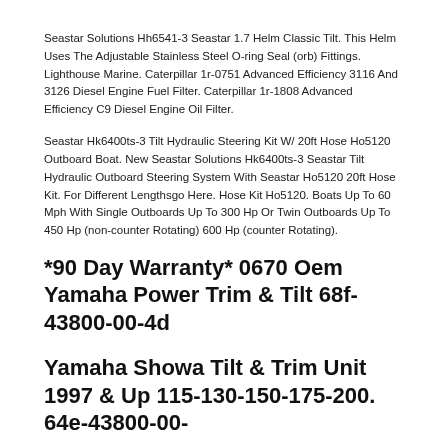Seastar Solutions Hh6541-3 Seastar 1.7 Helm Classic Tilt. This Helm Uses The Adjustable Stainless Steel O-ring Seal (orb) Fittings. Lighthouse Marine. Caterpillar 1r-0751 Advanced Efficiency 3116 And 3126 Diesel Engine Fuel Filter. Caterpillar 1r-1808 Advanced Efficiency C9 Diesel Engine Oil Filter.
Seastar Hk6400ts-3 Tilt Hydraulic Steering Kit W/ 20ft Hose Ho5120 Outboard Boat. New Seastar Solutions Hk6400ts-3 Seastar Tilt Hydraulic Outboard Steering System With Seastar Ho5120 20ft Hose Kit. For Different Lengthsgo Here. Hose Kit Ho5120. Boats Up To 60 Mph With Single Outboards Up To 300 Hp Or Twin Outboards Up To 450 Hp (non-counter Rotating) 600 Hp (counter Rotating).
*90 Day Warranty* 0670 Oem Yamaha Power Trim & Tilt 68f-43800-00-4d
Yamaha Showa Tilt & Trim Unit 1997 & Up 115-130-150-175-200. 64e-43800-00-